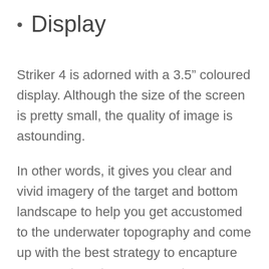Display
Striker 4 is adorned with a 3.5” coloured display. Although the size of the screen is pretty small, the quality of image is astounding.
In other words, it gives you clear and vivid imagery of the target and bottom landscape to help you get accustomed to the underwater topography and come up with the best strategy to encapture as many targets as you want.